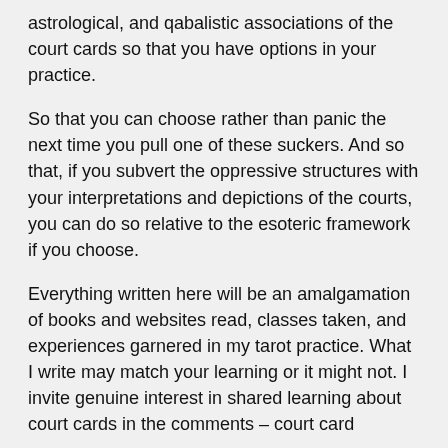astrological, and qabalistic associations of the court cards so that you have options in your practice.
So that you can choose rather than panic the next time you pull one of these suckers. And so that, if you subvert the oppressive structures with your interpretations and depictions of the courts, you can do so relative to the esoteric framework if you choose.
Everything written here will be an amalgamation of books and websites read, classes taken, and experiences garnered in my tarot practice. What I write may match your learning or it might not. I invite genuine interest in shared learning about court cards in the comments – court card